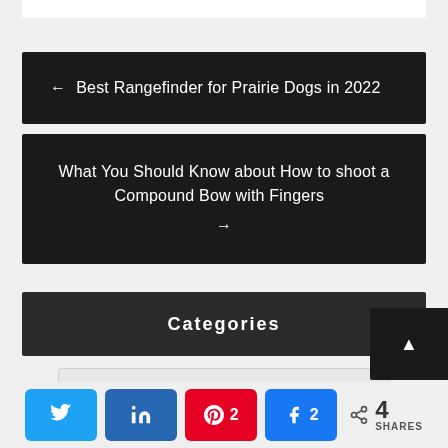← Best Rangefinder for Prairie Dogs in 2022
What You Should Know about How to shoot a Compound Bow with Fingers →
Categories
Select Category
< 4 SHARES  [Twitter] [LinkedIn] [Pinterest 2] [Facebook 2]